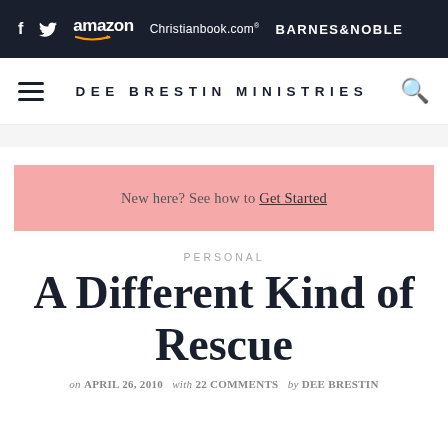f  twitter  amazon  Christianbook.com  BARNES & NOBLE
DEE BRESTIN MINISTRIES
New here? See how to Get Started
PERSONAL
A Different Kind of Rescue
on APRIL 26, 2010  with 22 COMMENTS  by DEE BRESTIN